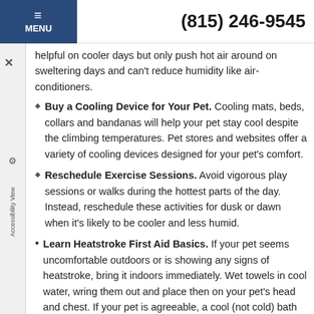MENU | (815) 246-9545
helpful on cooler days but only push hot air around on sweltering days and can't reduce humidity like air-conditioners.
Buy a Cooling Device for Your Pet. Cooling mats, beds, collars and bandanas will help your pet stay cool despite the climbing temperatures. Pet stores and websites offer a variety of cooling devices designed for your pet's comfort.
Reschedule Exercise Sessions. Avoid vigorous play sessions or walks during the hottest parts of the day. Instead, reschedule these activities for dusk or dawn when it's likely to be cooler and less humid.
Learn Heatstroke First Aid Basics. If your pet seems uncomfortable outdoors or is showing any signs of heatstroke, bring it indoors immediately. Wet towels in cool water, wring them out and place then on your pet's head and chest. If your pet is agreeable, a cool (not cold) bath can also be helpful. Be sure to offer a fresh supply of water too.